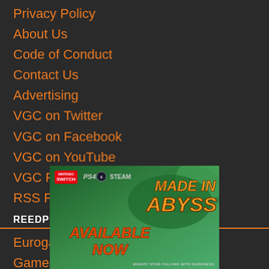Privacy Policy
About Us
Code of Conduct
Contact Us
Advertising
VGC on Twitter
VGC on Facebook
VGC on YouTube
VGC Podcast
RSS Feed
REEDPOP
Eurogamer
GamesIndustry.biz
[Figure (illustration): Made in Abyss game advertisement banner. Shows Nintendo Switch, PS4, and Steam platform logos. Large orange stylized text reads MADE IN ABYSS. Orange italic text reads AVAILABLE NOW. Tagline: BINARY STAR FALLING INTO DARKNESS. Background features jungle/forest imagery.]